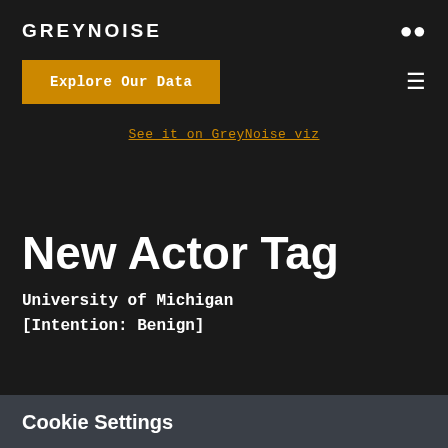GREYNOISE
Explore Our Data
See it on GreyNoise viz
New Actor Tag
University of Michigan [Intention: Benign]
Cookie Settings
We use cookies to ensure you get the best experience on our website. Learn more
Got It